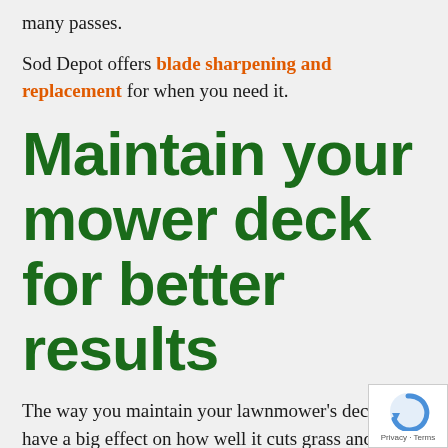many passes.
Sod Depot offers blade sharpening and replacement for when you need it.
Maintain your mower deck for better results
The way you maintain your lawnmower's deck can have a big effect on how well it cuts grass and how evenly the clippings are distributed.
Maintaining your deck involves cleaning debris like leaves, twigs, or even rocks out of the undercarriage.